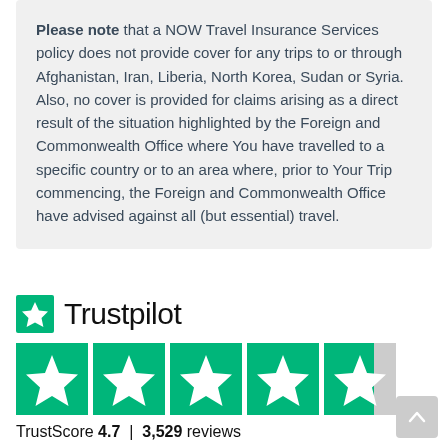Please note that a NOW Travel Insurance Services policy does not provide cover for any trips to or through Afghanistan, Iran, Liberia, North Korea, Sudan or Syria. Also, no cover is provided for claims arising as a direct result of the situation highlighted by the Foreign and Commonwealth Office where You have travelled to a specific country or to an area where, prior to Your Trip commencing, the Foreign and Commonwealth Office have advised against all (but essential) travel.
[Figure (logo): Trustpilot logo with green star and wordmark, followed by five green star rating boxes (4.7 out of 5) and TrustScore 4.7 | 3,529 reviews]